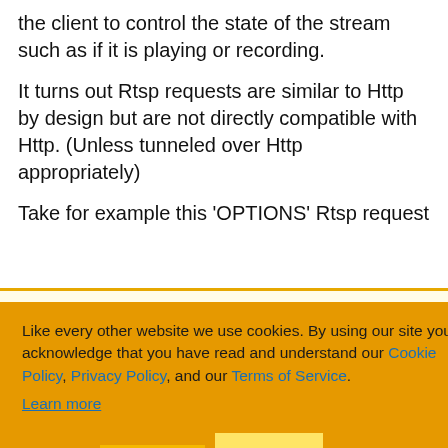the client to control the state of the stream such as if it is playing or recording.
It turns out Rtsp requests are similar to Http by design but are not directly compatible with Http. (Unless tunneled over Http appropriately)
Take for example this 'OPTIONS' Rtsp request
Copy Code
/media.mp4
sages
EARDOWN,
Like every other website we use cookies. By using our site you acknowledge that you have read and understand our Cookie Policy, Privacy Policy, and our Terms of Service. Learn more
Ask me later Decline Allow cookies
Some additional text at the bottom of the page